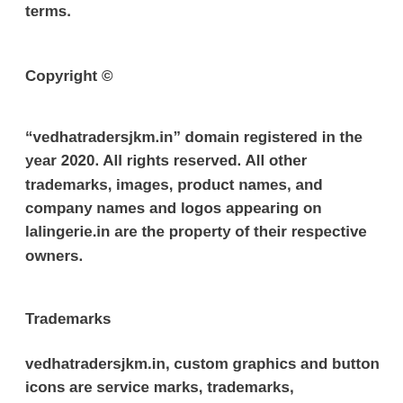terms.
Copyright ©
“vedhatradersjkm.in” domain registered in the year 2020. All rights reserved. All other trademarks, images, product names, and company names and logos appearing on lalingerie.in are the property of their respective owners.
Trademarks
vedhatradersjkm.in, custom graphics and button icons are service marks, trademarks,